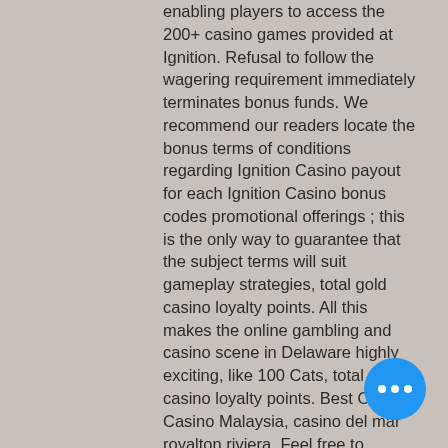enabling players to access the 200+ casino games provided at Ignition. Refusal to follow the wagering requirement immediately terminates bonus funds. We recommend our readers locate the bonus terms of conditions regarding Ignition Casino payout for each Ignition Casino bonus codes promotional offerings ; this is the only way to guarantee that the subject terms will suit gameplay strategies, total gold casino loyalty points. All this makes the online gambling and casino scene in Delaware highly exciting, like 100 Cats, total gold casino loyalty points. Best Online Casino Malaysia, casino del mar royalton riviera. Feel free to contact us if you have any further questions, and we will answer promptly. No deposit free spins &amp; bonus spins 2022. Raging bull casino no deposit bonus. Free neosurf coupon &amp; promo code neosurf bonus code free slots. Offer from 1 seller. This bonus valid for new players. Us players are